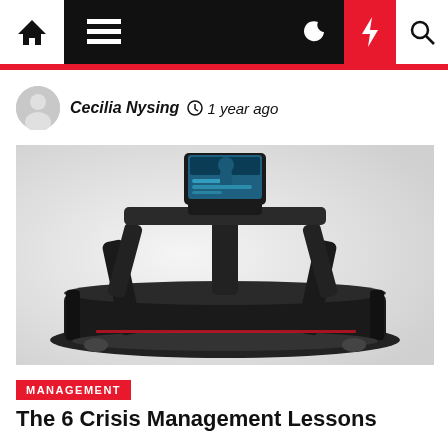Navigation bar with home, menu, dark mode, lightning, and search icons
Cecilia Nysing  1 year ago
[Figure (photo): A modern black Peloton treadmill with a large touchscreen monitor mounted on top, photographed on a light grey background.]
MANAGEMENT
The 6 Crisis Management Lessons